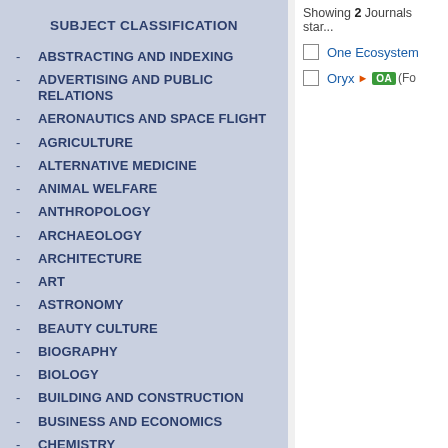SUBJECT CLASSIFICATION
ABSTRACTING AND INDEXING
ADVERTISING AND PUBLIC RELATIONS
AERONAUTICS AND SPACE FLIGHT
AGRICULTURE
ALTERNATIVE MEDICINE
ANIMAL WELFARE
ANTHROPOLOGY
ARCHAEOLOGY
ARCHITECTURE
ART
ASTRONOMY
BEAUTY CULTURE
BIOGRAPHY
BIOLOGY
BUILDING AND CONSTRUCTION
BUSINESS AND ECONOMICS
CHEMISTRY
Showing 2 Journals starting with...
One Ecosystem
Oryx OA (Fo...